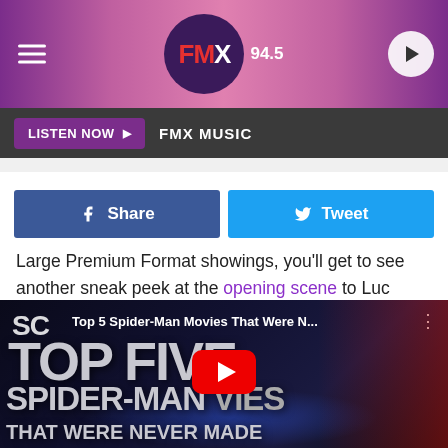[Figure (screenshot): FMX 94.5 radio station header with purple gradient background, hamburger menu icon on left, FMX logo in circle center, play button on right]
LISTEN NOW ▶  FMX MUSIC
[Figure (screenshot): Social share buttons: Facebook Share button (blue) and Twitter Tweet button (light blue)]
Large Premium Format showings, you'll get to see another sneak peek at the opening scene to Luc Besson's Valerian and the City of a Thousand Planets. There's no better excuse to go to the movies (besides the free A/C).
[Figure (screenshot): YouTube video thumbnail for 'Top 5 Spider-Man Movies That Were N...' showing Spider-Man image with TOP FIVE and SPIDER-MAN text overlay and YouTube play button]